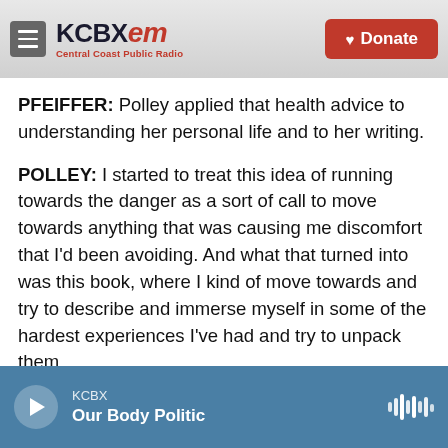KCBX FM — Central Coast Public Radio | Donate
PFEIFFER: Polley applied that health advice to understanding her personal life and to her writing.
POLLEY: I started to treat this idea of running towards the danger as a sort of call to move towards anything that was causing me discomfort that I'd been avoiding. And what that turned into was this book, where I kind of move towards and try to describe and immerse myself in some of the hardest experiences I've had and try to unpack them.
PFEIFFER: Polley writes about her frightening
KCBX — Our Body Politic